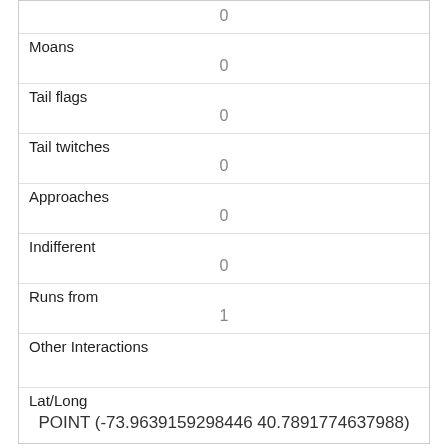| 0 |
| Moans | 0 |
| Tail flags | 0 |
| Tail twitches | 0 |
| Approaches | 0 |
| Indifferent | 0 |
| Runs from | 1 |
| Other Interactions |  |
| Lat/Long | POINT (-73.9639159298446 40.7891774637988) |
| Link | 42 |
| rowid |  |